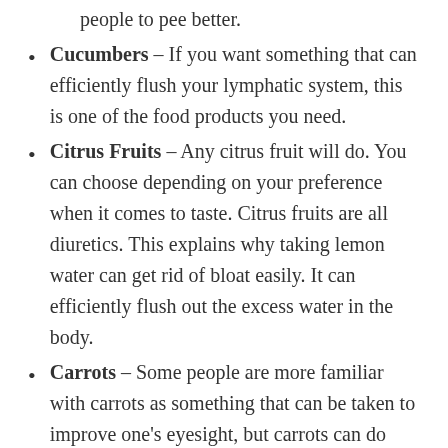people to pee better.
Cucumbers – If you want something that can efficiently flush your lymphatic system, this is one of the food products you need.
Citrus Fruits – Any citrus fruit will do. You can choose depending on your preference when it comes to taste. Citrus fruits are all diuretics. This explains why taking lemon water can get rid of bloat easily. It can efficiently flush out the excess water in the body.
Carrots – Some people are more familiar with carrots as something that can be taken to improve one's eyesight, but carrots can do much more than that. This can cause you to pee better because it has many antioxidants that will help remove the